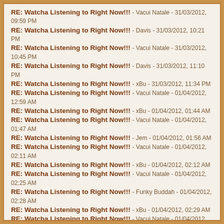RE: Watcha Listening to Right Now!!! - Vacui Natale - 31/03/2012, 09:59 PM
RE: Watcha Listening to Right Now!!! - Davis - 31/03/2012, 10:21 PM
RE: Watcha Listening to Right Now!!! - Vacui Natale - 31/03/2012, 10:45 PM
RE: Watcha Listening to Right Now!!! - Davis - 31/03/2012, 11:10 PM
RE: Watcha Listening to Right Now!!! - xBu - 31/03/2012, 11:34 PM
RE: Watcha Listening to Right Now!!! - Vacui Natale - 01/04/2012, 12:59 AM
RE: Watcha Listening to Right Now!!! - xBu - 01/04/2012, 01:44 AM
RE: Watcha Listening to Right Now!!! - Vacui Natale - 01/04/2012, 01:47 AM
RE: Watcha Listening to Right Now!!! - Jem - 01/04/2012, 01:56 AM
RE: Watcha Listening to Right Now!!! - Vacui Natale - 01/04/2012, 02:11 AM
RE: Watcha Listening to Right Now!!! - xBu - 01/04/2012, 02:12 AM
RE: Watcha Listening to Right Now!!! - Vacui Natale - 01/04/2012, 02:25 AM
RE: Watcha Listening to Right Now!!! - Funky Buddah - 01/04/2012, 02:28 AM
RE: Watcha Listening to Right Now!!! - xBu - 01/04/2012, 02:29 AM
RE: Watcha Listening to Right Now!!! - Vacui Natale - 01/04/2012, 02:30 AM
RE: Watcha Listening to Right Now!!! - Jem - 01/04/2012, 03:02 AM
RE: Watcha Listening to Right Now!!! - FenFen - 01/04/2012, 03:40 AM